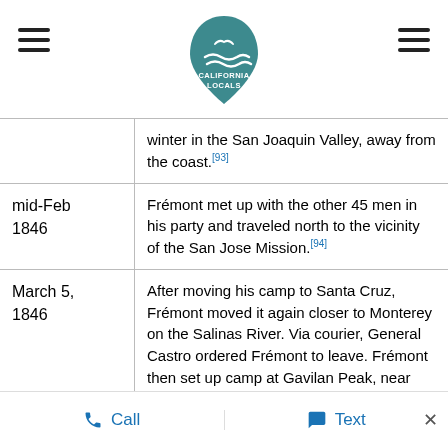[Figure (logo): California Locals logo - teal shield/arch shape with wave and bird silhouette, text CALIFORNIA LOCALS]
|  | winter in the San Joaquin Valley, away from the coast.[93] |
| mid-Feb 1846 | Frémont met up with the other 45 men in his party and traveled north to the vicinity of the San Jose Mission.[94] |
| March 5, 1846 | After moving his camp to Santa Cruz, Frémont moved it again closer to Monterey on the Salinas River. Via courier, General Castro ordered Frémont to leave. Frémont then set up camp at Gavilan Peak, near San Juan Bautista.[95] |
| March 6, | Mexican president José Herrera rejected |
Call   Text   ×